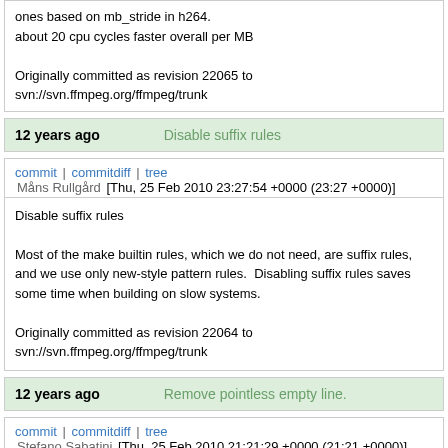ones based on mb_stride in h264.
about 20 cpu cycles faster overall per MB

Originally committed as revision 22065 to svn://svn.ffmpeg.org/ffmpeg/trunk
12 years ago    Disable suffix rules
commit | commitdiff | tree
Måns Rullgård [Thu, 25 Feb 2010 23:27:54 +0000 (23:27 +0000)]
Disable suffix rules

Most of the make builtin rules, which we do not need, are suffix rules, and we use only new-style pattern rules.  Disabling suffix rules saves some time when building on slow systems.

Originally committed as revision 22064 to svn://svn.ffmpeg.org/ffmpeg/trunk
12 years ago    Remove pointless empty line.
commit | commitdiff | tree
Stefano Sabatini [Thu, 25 Feb 2010 21:21:29 +0000 (21:21 +0000)]